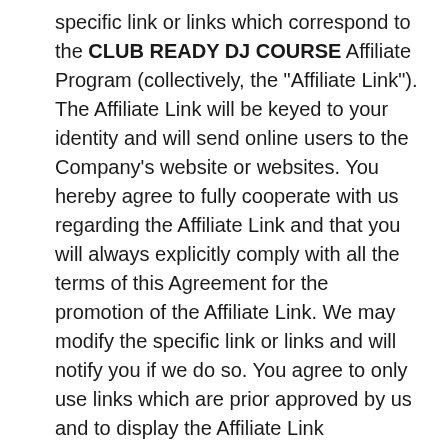specific link or links which correspond to the CLUB READY DJ COURSE Affiliate Program (collectively, the "Affiliate Link"). The Affiliate Link will be keyed to your identity and will send online users to the Company's website or websites. You hereby agree to fully cooperate with us regarding the Affiliate Link and that you will always explicitly comply with all the terms of this Agreement for the promotion of the Affiliate Link. We may modify the specific link or links and will notify you if we do so. You agree to only use links which are prior approved by us and to display the Affiliate Link prominently on your website or social media page, as described in your Affiliate Application (collectively, the "Affiliate Site").